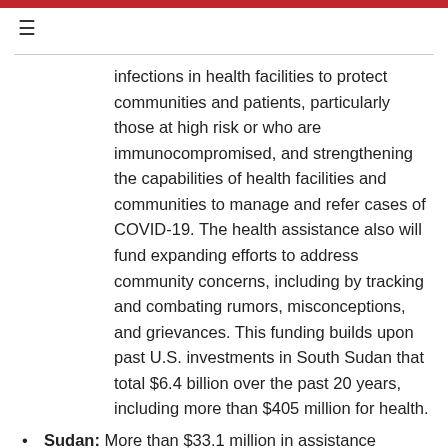infections in health facilities to protect communities and patients, particularly those at high risk or who are immunocompromised, and strengthening the capabilities of health facilities and communities to manage and refer cases of COVID-19. The health assistance also will fund expanding efforts to address community concerns, including by tracking and combating rumors, misconceptions, and grievances. This funding builds upon past U.S. investments in South Sudan that total $6.4 billion over the past 20 years, including more than $405 million for health.
Sudan: More than $33.1 million in assistance includes $1 million in health assistance and $25.8 million in IDA humanitarian assistance for